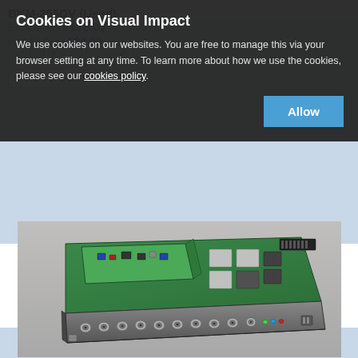BKM-255DV (Used)
Exc VAT Price £70.00
Inc VAT Price £84.00
SKU: U2D-BKM-255DV-11349689
ADD TO BASKET
Cookies on Visual Impact
We use cookies on our websites. You are free to manage this via your browser setting at any time. To learn more about how we use the cookies, please see our cookies policy.
Allow
[Figure (photo): Photo of BKM-255DV used circuit board/PCB module with BNC connectors along the bottom edge, green PCB with various chips and components visible from an angled top-down perspective]